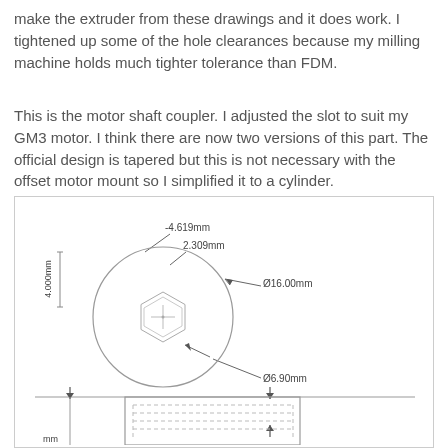make the extruder from these drawings and it does work. I tightened up some of the hole clearances because my milling machine holds much tighter tolerance than FDM.
This is the motor shaft coupler. I adjusted the slot to suit my GM3 motor. I think there are now two versions of this part. The official design is tapered but this is not necessary with the offset motor mount so I simplified it to a cylinder.
[Figure (engineering-diagram): Technical drawing of motor shaft coupler showing top view with dimensions: -4.619mm, 2.309mm, Ø16.00mm, Ø6.90mm, 4.000mm, and a partial side/front view at the bottom with hidden lines.]